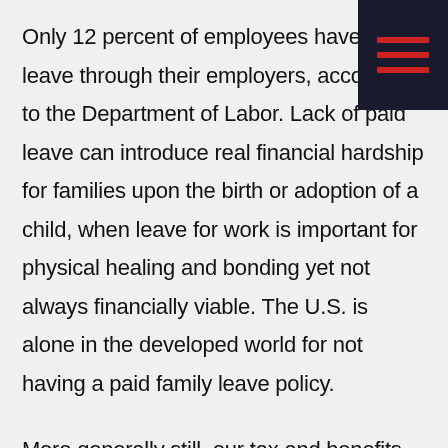Only 12 percent of employees have paid leave through their employers, according to the Department of Labor. Lack of paid leave can introduce real financial hardship for families upon the birth or adoption of a child, when leave for work is important for physical healing and bonding yet not always financially viable. The U.S. is alone in the developed world for not having a paid family leave policy.
More generally still, our tax and benefits system introduces high effective marginal tax rates on dual-income households in the form of higher